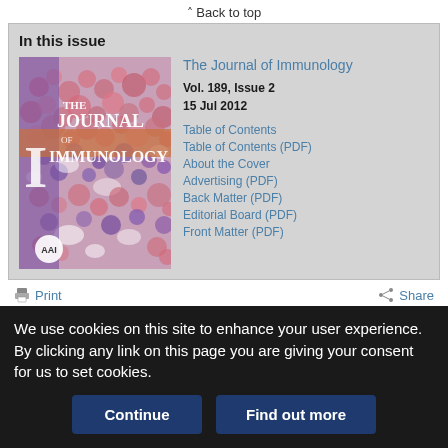Back to top
In this issue
[Figure (illustration): Cover of The Journal of Immunology showing a microscopic image of cells (pink, purple, white stained tissue) with the journal title overlay and AAI logo]
The Journal of Immunology
Vol. 189, Issue 2
15 Jul 2012
Table of Contents
Table of Contents (PDF)
About the Cover
Advertising (PDF)
Back Matter (PDF)
Editorial Board (PDF)
Front Matter (PDF)
Print   Share
We use cookies on this site to enhance your user experience. By clicking any link on this page you are giving your consent for us to set cookies.